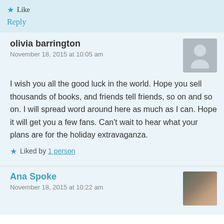★ Like
Reply
olivia barrington
November 18, 2015 at 10:05 am
I wish you all the good luck in the world. Hope you sell thousands of books, and friends tell friends, so on and so on. I will spread word around here as much as I can. Hope it will get you a few fans. Can't wait to hear what your plans are for the holiday extravaganza.
★ Liked by 1 person
Ana Spoke
November 18, 2015 at 10:22 am